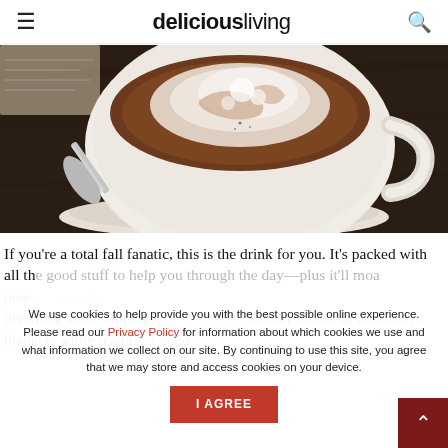deliciousliving
[Figure (photo): Close-up photo of a frothy cappuccino or latte in a white ceramic cup on a saucer, with a spoon, on a dark wooden table]
If you're a total fall fanatic, this is the drink for you. It's packed with all the good stuff to help you through the day—plus it'll moa pow... you're already dreaming about sipping this on a rainy Sunday morning, bundled in blankets while reading a good book.
We use cookies to help provide you with the best possible online experience. Please read our Privacy Policy for information about which cookies we use and what information we collect on our site. By continuing to use this site, you agree that we may store and access cookies on your device.